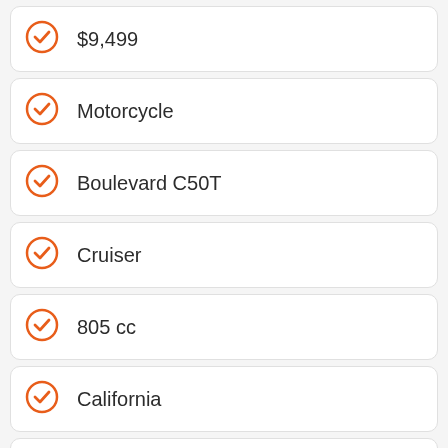$9,499
Motorcycle
Boulevard C50T
Cruiser
805 cc
California
Vallejo
Glass Sparkle Black